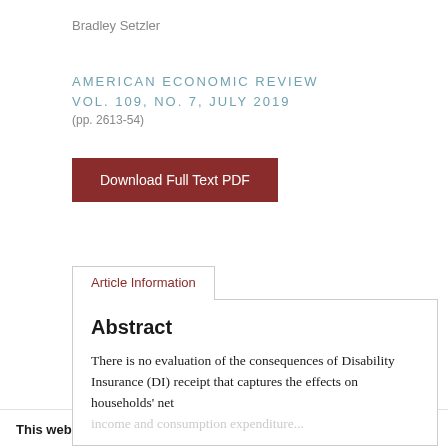Bradley Setzler
AMERICAN ECONOMIC REVIEW
VOL. 109, NO. 7, JULY 2019
(pp. 2613-54)
[Figure (other): Download Full Text PDF button — dark red rectangle with white text]
Article Information
Abstract
There is no evaluation of the consequences of Disability Insurance (DI) receipt that captures the effects on households' net income and consumption expenditure...
This website uses cookies.